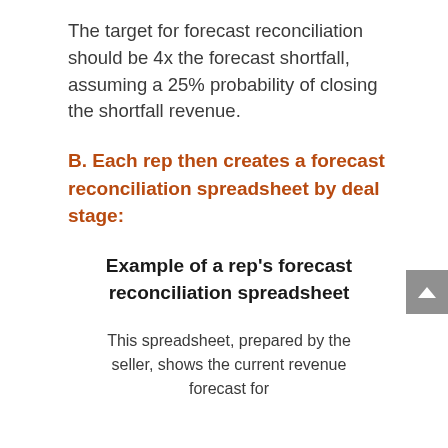The target for forecast reconciliation should be 4x the forecast shortfall, assuming a 25% probability of closing the shortfall revenue.
B. Each rep then creates a forecast reconciliation spreadsheet by deal stage:
Example of a rep's forecast reconciliation spreadsheet
This spreadsheet, prepared by the seller, shows the current revenue forecast for